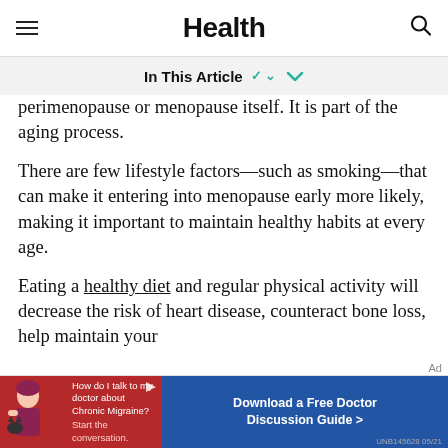Health
In This Article
perimenopause or menopause itself. It is part of the aging process.
There are few lifestyle factors—such as smoking—that can make it entering into menopause early more likely, making it important to maintain healthy habits at every age.
Eating a healthy diet and regular physical activity will decrease the risk of heart disease, counteract bone loss, help maintain your
[Figure (screenshot): Advertisement banner: left side red background with doctor figure and text 'How do I talk to my doctor about Chronic Migraine? Start the conversation.'; right side blue button 'Download a Free Doctor Discussion Guide >']
UNB145628 05/21